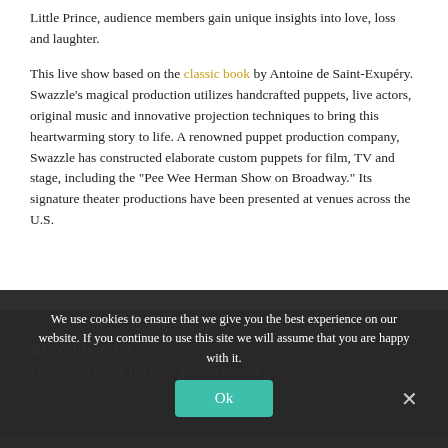Little Prince, audience members gain unique insights into love, loss and laughter.
This live show based on the classic book by Antoine de Saint-Exupéry. Swazzle's magical production utilizes handcrafted puppets, live actors, original music and innovative projection techniques to bring this heartwarming story to life. A renowned puppet production company, Swazzle has constructed elaborate custom puppets for film, TV and stage, including the "Pee Wee Herman Show on Broadway." Its signature theater productions have been presented at venues across the U.S.
We use cookies to ensure that we give you the best experience on our website. If you continue to use this site we will assume that you are happy with it.
The Little Prince ... (blurred background text)
BUY TICKETS
Learn more about The Little Prince, view an extensive...